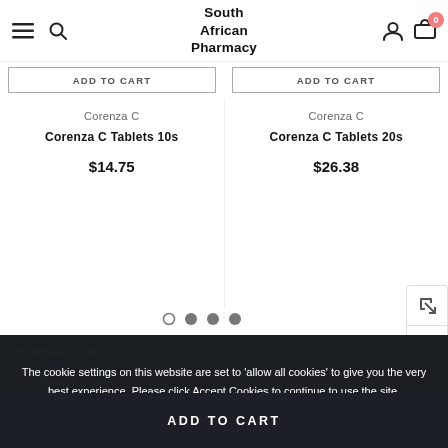South African Pharmacy
ADD TO CART   ADD TO CART
Corenza C
Corenza C Tablets 10s
$14.75
Corenza C
Corenza C Tablets 20s
$26.38
The cookie settings on this website are set to 'allow all cookies' to give you the very best experience. Please click Accept Cookies to continue to use the site.
PHARMACY INFO
CUSTOMER SERV...
PRIVACY POLICY   ACCEPT ✓
ADD TO CART